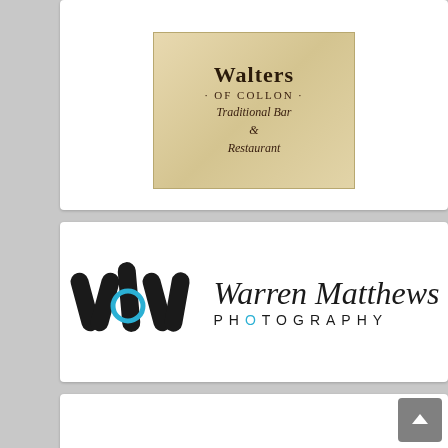[Figure (logo): Walters of Collon - Traditional Bar & Restaurant logo on aged parchment background]
[Figure (logo): Warren Matthews Photography logo with abstract WM monogram icon and script/sans-serif text]
[Figure (logo): The Medicine Shop Pharmacy logo in dark blue with mortar and pestle icon]
Jenkinstown Pharmacy, Jenkinstown, Dundalk, Co.Louth, A91 Y2ZN